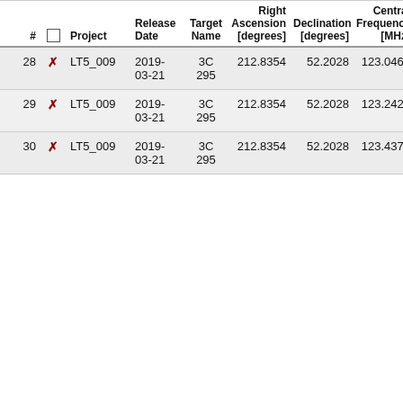| # |  | Project | Release Date | Target Name | Right Ascension [degrees] | Declination [degrees] | Central Frequency [MHz] | Ch Wi... |
| --- | --- | --- | --- | --- | --- | --- | --- | --- |
| 28 | ✗ | LT5_009 | 2019-03-21 | 3C 295 | 212.8354 | 52.2028 | 123.0469 | 122... |
| 29 | ✗ | LT5_009 | 2019-03-21 | 3C 295 | 212.8354 | 52.2028 | 123.2422 | 122... |
| 30 | ✗ | LT5_009 | 2019-03-21 | 3C 295 | 212.8354 | 52.2028 | 123.4375 | 122... |